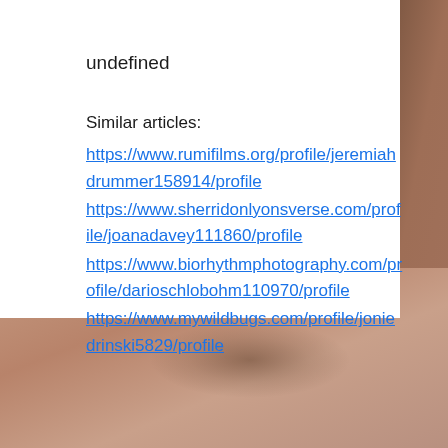undefined
Similar articles:
https://www.rumifilms.org/profile/jeremiahdrummer158914/profile
https://www.sherridonlyonsverse.com/profile/joanadavey111860/profile
https://www.biorhythmphotography.com/profile/darioschlobohm110970/profile
https://www.mywildbugs.com/profile/joniedrinski5829/profile
[Figure (photo): Brownish textured background, likely a close-up photo of skin or similar organic surface, occupying the right side and bottom of the page.]